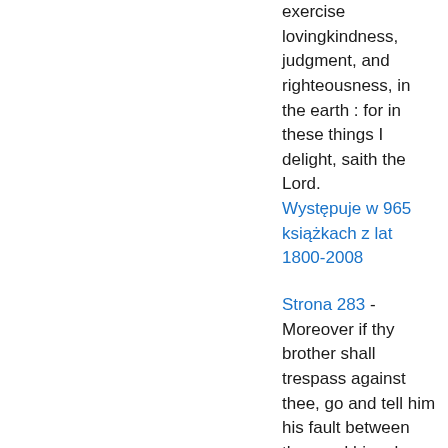exercise lovingkindness, judgment, and righteousness, in the earth : for in these things I delight, saith the Lord.
Występuje w 965 książkach z lat 1800-2008
Strona 283 - Moreover if thy brother shall trespass against thee, go and tell him his fault between thee and him alone ; if he shall hear thee, thou hast gained thy brother. But if he will not hear thee, then take with thee one or two more, that in the mouth of two or three witnesses every word may be established. And if he shall neglect to hear